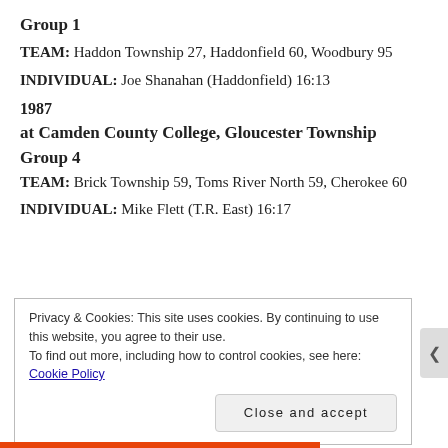Group 1
TEAM: Haddon Township 27, Haddonfield 60, Woodbury 95
INDIVIDUAL: Joe Shanahan (Haddonfield) 16:13
1987
at Camden County College, Gloucester Township
Group 4
TEAM: Brick Township 59, Toms River North 59, Cherokee 60
INDIVIDUAL: Mike Flett (T.R. East) 16:17
Privacy & Cookies: This site uses cookies. By continuing to use this website, you agree to their use.
To find out more, including how to control cookies, see here: Cookie Policy
Close and accept